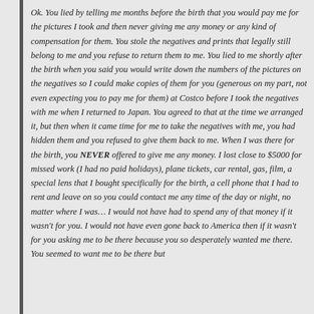Ok. You lied by telling me months before the birth that you would pay me for the pictures I took and then never giving me any money or any kind of compensation for them. You stole the negatives and prints that legally still belong to me and you refuse to return them to me. You lied to me shortly after the birth when you said you would write down the numbers of the pictures on the negatives so I could make copies of them for you (generous on my part, not even expecting you to pay me for them) at Costco before I took the negatives with me when I returned to Japan. You agreed to that at the time we arranged it, but then when it came time for me to take the negatives with me, you had hidden them and you refused to give them back to me. When I was there for the birth, you NEVER offered to give me any money. I lost close to $5000 for missed work (I had no paid holidays), plane tickets, car rental, gas, film, a special lens that I bought specifically for the birth, a cell phone that I had to rent and leave on so you could contact me any time of the day or night, no matter where I was… I would not have had to spend any of that money if it wasn't for you. I would not have even gone back to America then if it wasn't for you asking me to be there because you so desperately wanted me there. You seemed to want me to be there but